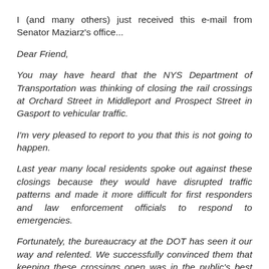I (and many others) just received this e-mail from Senator Maziarz's office...
Dear Friend,
You may have heard that the NYS Department of Transportation was thinking of closing the rail crossings at Orchard Street in Middleport and Prospect Street in Gasport to vehicular traffic.
I'm very pleased to report to you that this is not going to happen.
Last year many local residents spoke out against these closings because they would have disrupted traffic patterns and made it more difficult for first responders and law enforcement officials to respond to emergencies.
Fortunately, the bureaucracy at the DOT has seen it our way and relented. We successfully convinced them that keeping these crossings open was in the public's best interest.